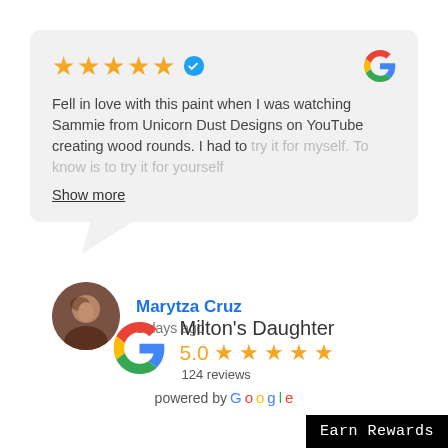[Figure (other): Five orange stars with a blue verified checkmark badge and a Google G logo on the right]
Fell in love with this paint when I was watching Sammie from Unicorn Dust Designs on YouTube creating wood rounds. I had to try it for myself. To know is to try it for yourself
Show more
[Figure (photo): Circular profile photo of Marytza Cruz, a woman with dark hair]
Marytza Cruz
3 days ago
[Figure (logo): Google G logo in red, yellow, green, blue colors]
Milton's Daughter
5.0 ★★★★★
124 reviews
powered by Google
Earn Rewards